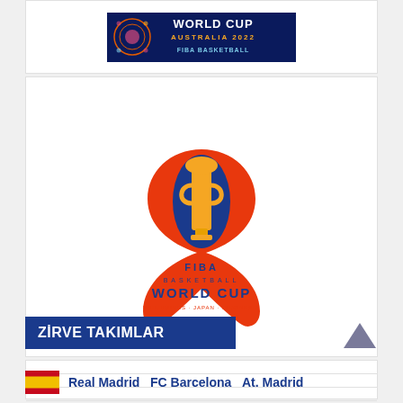[Figure (logo): FIBA Basketball World Cup Australia 2022 banner logo on dark blue background]
[Figure (logo): FIBA Basketball World Cup Philippines Japan Indonesia logo with orange-red heart/number 8 design and gold trophy]
ZİRVE TAKIMLAR
Real Madrid   FC Barcelona   At. Madrid